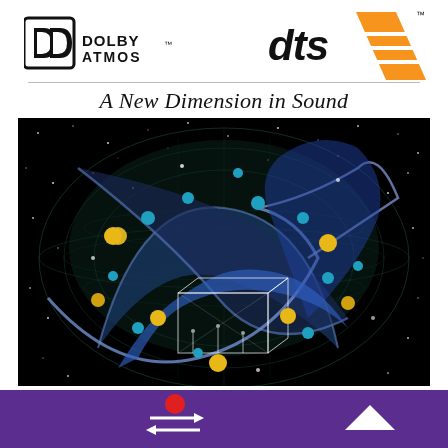[Figure (logo): Dolby Atmos logo - black double-D symbol with DOLBY ATMOS text and trademark symbol]
[Figure (logo): DTS:X logo - orange and black stylized DTS X text with trademark symbol]
A New Dimension in Sound
[Figure (illustration): Digital illustration on black background showing a 3D audio soundscape with a transparent room/speaker box at center, surrounded by swirling blue ribbon shapes, concentric spherical grids, and glowing yellow and teal orbs scattered throughout a starfield]
[Figure (screenshot): Purple navigation/media bar at bottom with red record dot indicator, two-arrow shuffle/transfer icon, and up-arrow navigation button]